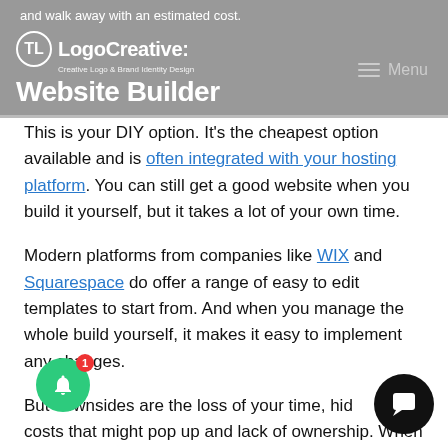and walk away with an estimated cost. Logo Creative: Website Builder Menu
This is your DIY option. It's the cheapest option available and is often integrated with your hosting platform. You can still get a good website when you build it yourself, but it takes a lot of your own time.
Modern platforms from companies like WIX and Squarespace do offer a range of easy to edit templates to start from. And when you manage the whole build yourself, it makes it easy to implement any changes.
But downsides are the loss of your time, hidden costs that might pop up and lack of ownership. When